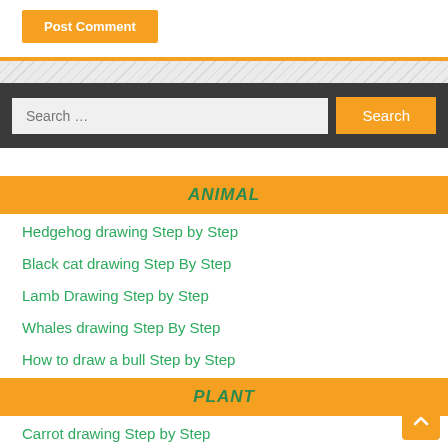[Figure (screenshot): Post Comment button - orange rectangle with white text]
ANIMAL
Hedgehog drawing Step by Step
Black cat drawing Step By Step
Lamb Drawing Step by Step
Whales drawing Step By Step
How to draw a bull Step by Step
PLANT
Carrot drawing Step by Step